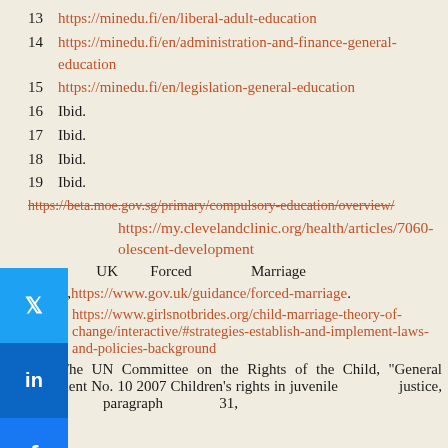13 https://minedu.fi/en/liberal-adult-education
14 https://minedu.fi/en/administration-and-finance-general-education
15 https://minedu.fi/en/legislation-general-education
16 Ibid.
17 Ibid.
18 Ibid.
19 Ibid.
20 https://beta.moe.gov.sg/primary/compulsory-education/overview/
21 https://my.clevelandclinic.org/health/articles/7060-adolescent-development
22 UK Forced Marriage Guidance, https://www.gov.uk/guidance/forced-marriage.
23 https://www.girlsnotbrides.org/child-marriage-theory-of-change/interactive/#strategies-establish-and-implement-laws-and-policies-background
24 The UN Committee on the Rights of the Child, "General Comment No. 10 2007 Children's rights in juvenile justice, paragraph 31,